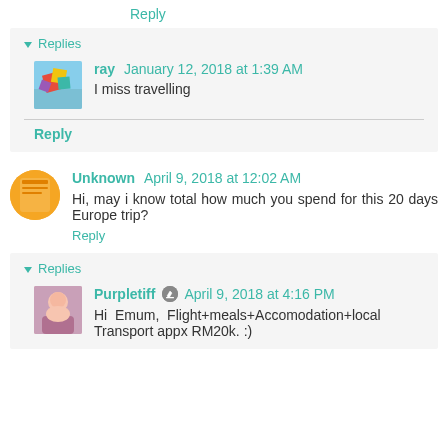Reply
▾ Replies
ray January 12, 2018 at 1:39 AM
I miss travelling
Reply
Unknown April 9, 2018 at 12:02 AM
Hi, may i know total how much you spend for this 20 days Europe trip?
Reply
▾ Replies
Purpletiff April 9, 2018 at 4:16 PM
Hi Emum, Flight+meals+Accomodation+local Transport appx RM20k. :)